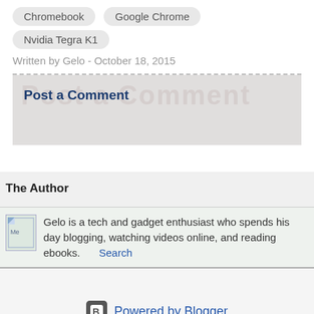Chromebook  Google Chrome
Nvidia Tegra K1
Written by Gelo - October 18, 2015
Post a Comment
The Author
Gelo is a tech and gadget enthusiast who spends his day blogging, watching videos online, and reading ebooks.   Search
Powered by Blogger